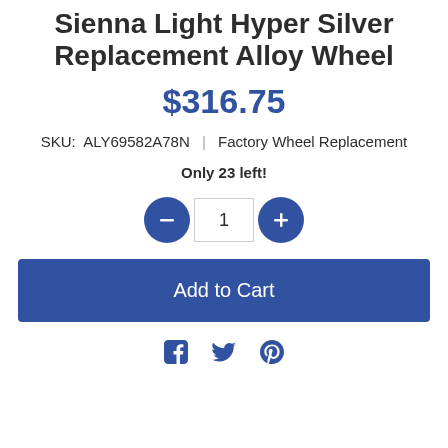Sienna Light Hyper Silver Replacement Alloy Wheel
$316.75
SKU: ALY69582A78N | Factory Wheel Replacement
Only 23 left!
[Figure (other): Quantity selector with minus button, input field showing 1, and plus button]
Add to Cart
[Figure (other): Social share icons: Facebook, Twitter, Pinterest]